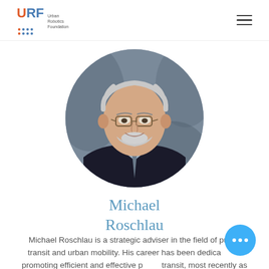URF Urban Robotics Foundation
[Figure (photo): Circular headshot portrait of Michael Roschlau, a middle-aged man with grey hair and glasses, wearing a dark suit and light blue shirt, smiling, against a grey background.]
Michael Roschlau
Michael Roschlau is a strategic adviser in the field of public transit and urban mobility. His career has been dedicated to promoting efficient and effective public transit, most recently as President and Chief Executive Officer of the Canadian